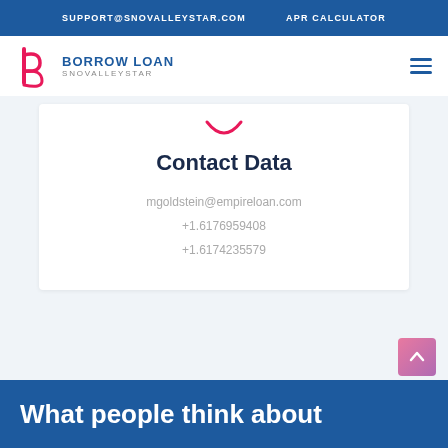SUPPORT@SNOVALLEYSTAR.COM   APR CALCULATOR
[Figure (logo): Borrow Loan Snovalleystar logo with stylized 'b/p' icon in pink and navy]
Contact Data
mgoldstein@empireloan.com
+1.6176959408
+1.6174235579
What people think about